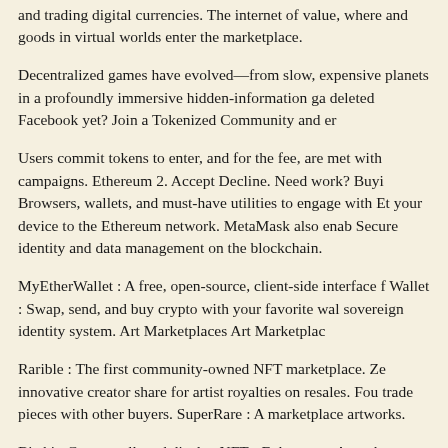and trading digital currencies. The internet of value, where and goods in virtual worlds enter the marketplace.
Decentralized games have evolved—from slow, expensive planets in a profoundly immersive hidden-information ga deleted Facebook yet? Join a Tokenized Community and er
Users commit tokens to enter, and for the fee, are met with campaigns. Ethereum 2. Accept Decline. Need work? Buyi Browsers, wallets, and must-have utilities to engage with Et your device to the Ethereum network. MetaMask also enab Secure identity and data management on the blockchain.
MyEtherWallet : A free, open-source, client-side interface f Wallet : Swap, send, and buy crypto with your favorite wal sovereign identity system. Art Marketplaces Art Marketplac
Rarible : The first community-owned NFT marketplace. Ze innovative creator share for artist royalties on resales. Fou trade pieces with other buyers. SuperRare : A marketplace artworks.
Bitski : Create, sell, and display NFTs. Ephemera : A marke